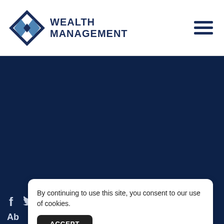[Figure (logo): Wealth Management company logo with interlocking diamond/infinity shapes in blue and dark navy, followed by text WEALTH MANAGEMENT in uppercase dark navy letters]
(501) 217-4069
2311 Biscayne Drive, Suite 140
Little Rock, AR 72227
Social media icons: Facebook (f), Twitter (bird), LinkedIn (in)
By continuing to use this site, you consent to our use of cookies.
ACCEPT
Ab